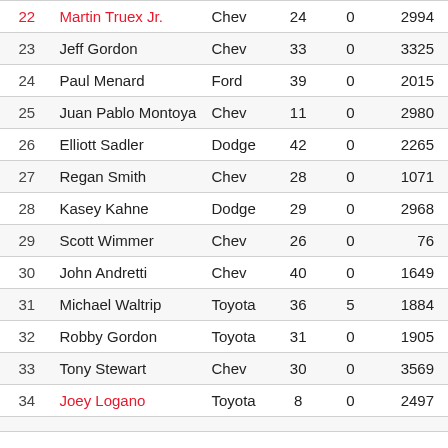| # | Driver | Car | Races | Wins | Points |
| --- | --- | --- | --- | --- | --- |
| 22 | Martin Truex Jr. | Chev | 24 | 0 | 2994 |
| 23 | Jeff Gordon | Chev | 33 | 0 | 3325 |
| 24 | Paul Menard | Ford | 39 | 0 | 2015 |
| 25 | Juan Pablo Montoya | Chev | 11 | 0 | 2980 |
| 26 | Elliott Sadler | Dodge | 42 | 0 | 2265 |
| 27 | Regan Smith | Chev | 28 | 0 | 1071 |
| 28 | Kasey Kahne | Dodge | 29 | 0 | 2968 |
| 29 | Scott Wimmer | Chev | 26 | 0 | 76 |
| 30 | John Andretti | Chev | 40 | 0 | 1649 |
| 31 | Michael Waltrip | Toyota | 36 | 5 | 1884 |
| 32 | Robby Gordon | Toyota | 31 | 0 | 1905 |
| 33 | Tony Stewart | Chev | 30 | 0 | 3569 |
| 34 | Joey Logano | Toyota | 8 | 0 | 2497 |